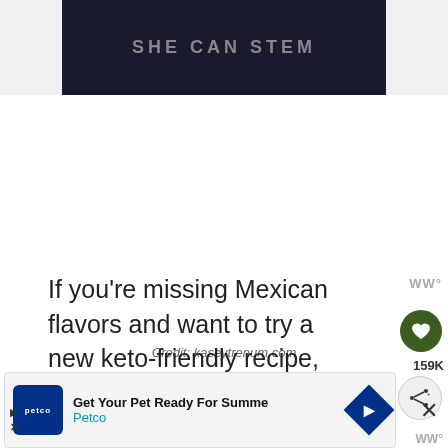[Figure (screenshot): Dark banner with 'SHE CAN STEM' text in gray letters on dark navy background]
Credit: kaseytrenum.com
If you're missing Mexican flavors and want to try a new keto-friendly recipe, here is a perfect meal for that.
This cheesy Mexican chicken skillet is d...
[Figure (screenshot): Petco advertisement banner: 'Get Your Pet Ready For Summe' with Petco logo and blue arrow icon]